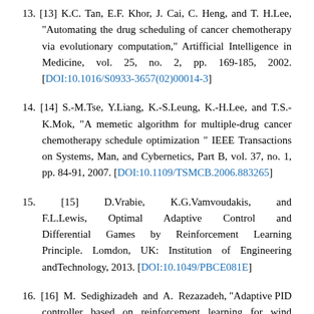13. [13] K.C. Tan, E.F. Khor, J. Cai, C. Heng, and T. H.Lee, "Automating the drug scheduling of cancer chemotherapy via evolutionary computation," Artifficial Intelligence in Medicine, vol. 25, no. 2, pp. 169-185, 2002. [DOI:10.1016/S0933-3657(02)00014-3]
14. [14] S.-M.Tse, Y.Liang, K.-S.Leung, K.-H.Lee, and T.S.-K.Mok, "A memetic algorithm for multiple-drug cancer chemotherapy schedule optimization " IEEE Transactions on Systems, Man, and Cybernetics, Part B, vol. 37, no. 1, pp. 84-91, 2007. [DOI:10.1109/TSMCB.2006.883265]
15. [15] D.Vrabie, K.G.Vamvoudakis, and F.L.Lewis, Optimal Adaptive Control and Differential Games by Reinforcement Learning Principle. Lomdon, UK: Institution of Engineering andTechnology, 2013. [DOI:10.1049/PBCE081E]
16. [16] M. Sedighizadeh and A. Rezazadeh, "Adaptive PID controller based on reinforcement learning for wind turbine control." World Academy